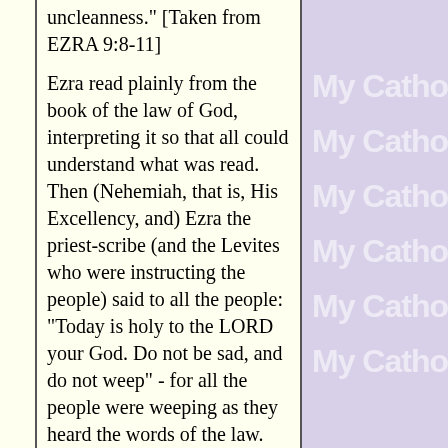uncleanness." [Taken from EZRA 9:8-11]
Ezra read plainly from the book of the law of God, interpreting it so that all could understand what was read. Then (Nehemiah, that is, His Excellency, and) Ezra the priest-scribe (and the Levites who were instructing the people) said to all the people: "Today is holy to the LORD your God. Do not be sad, and do not weep" - for all the people were weeping as they heard the words of the law. He said further: "Go, eat rich foods and drink sweet drinks, and allot portions to those who had nothing prepared; for today is holy to our LORD. Do not be saddened this day, for
[Figure (other): Repeated 'My Catho' watermark text on purple/lavender background, appearing 6 times vertically]